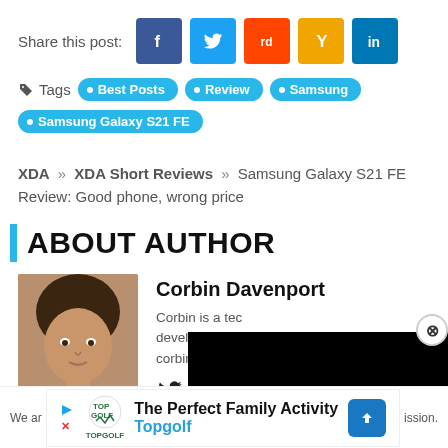Share this post:
[Figure (infographic): Social share buttons: Facebook (blue), Twitter (light blue), Reddit (red-orange), Hacker News (orange with Y), LinkedIn (dark blue with 'in')]
Tags  Best Posts  Review  Samsung  Samsung Galaxy S21 FE
XDA » XDA Short Reviews » Samsung Galaxy S21 FE Review: Good phone, wrong price
ABOUT AUTHOR
[Figure (photo): Photo of Corbin Davenport, a man with dark hair]
Corbin Davenport
Corbin is a tec... developer. Che... corbin.io.
[Figure (infographic): Black video overlay panel with close button (X circle)]
[Figure (infographic): Advertisement banner: The Perfect Family Activity - Topgolf]